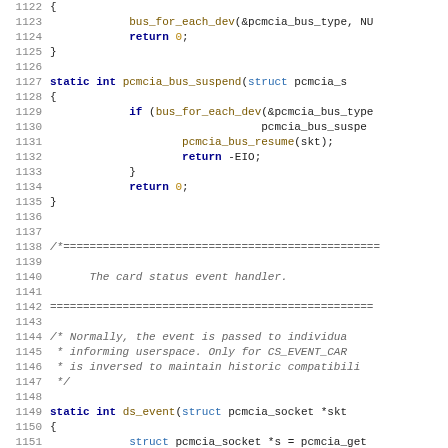Source code listing, lines 1122-1151, C kernel code for pcmcia bus suspend/resume and ds_event functions